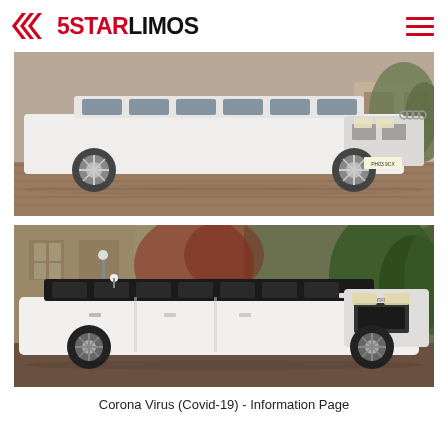[Figure (logo): 5STARLIMOS logo with red arrow chevrons and hamburger menu icon]
[Figure (photo): White stretch Audi limousine parked on brick driveway, front and side view, sunny day]
[Figure (photo): White stretch Range Rover limousine parked in front of ivy-covered stone building]
Corona Virus (Covid-19) - Information Page